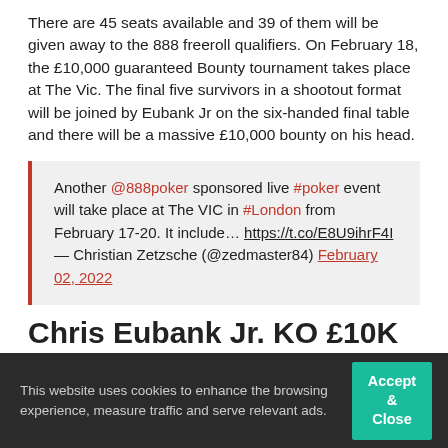There are 45 seats available and 39 of them will be given away to the 888 freeroll qualifiers. On February 18, the £10,000 guaranteed Bounty tournament takes place at The Vic. The final five survivors in a shootout format will be joined by Eubank Jr on the six-handed final table and there will be a massive £10,000 bounty on his head.
Another @888poker sponsored live #poker event will take place at The VIC in #London from February 17-20. It include… https://t.co/E8U9ihrF4I— Christian Zetzsche (@zedmaster84) February 02, 2022
Chris Eubank Jr. KO £10K Sit & Go Overview
This website uses cookies to enhance the browsing experience, measure traffic and serve relevant ads.